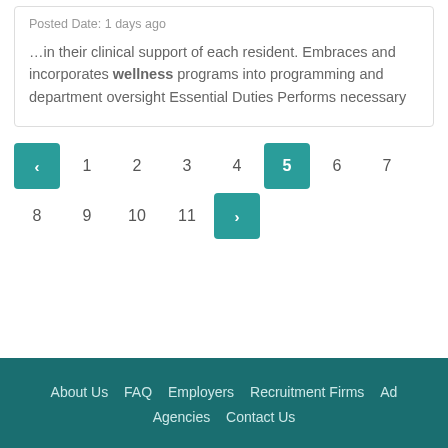Posted Date: 1 days ago
…in their clinical support of each resident. Embraces and incorporates wellness programs into programming and department oversight Essential Duties Performs necessary
‹ 1 2 3 4 5 6 7 8 9 10 11 ›
About Us   FAQ   Employers   Recruitment Firms   Ad Agencies   Contact Us